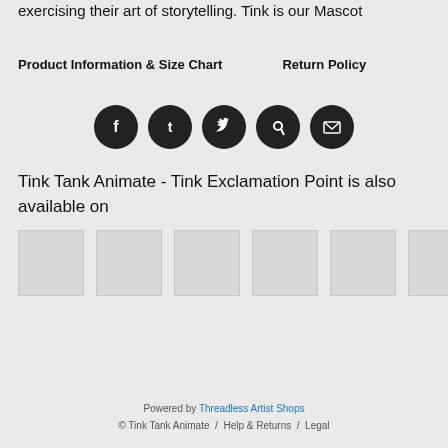exercising their art of storytelling. Tink is our Mascot
Product Information & Size Chart    Return Policy
[Figure (infographic): Row of five circular social media icon buttons (Facebook, Tumblr, Twitter, Pinterest, Email) in dark circles on grey background]
Tink Tank Animate - Tink Exclamation Point is also available on
[Figure (other): Six light grey rectangular product thumbnail placeholder boxes in a horizontal row]
Powered by Threadless Artist Shops
© Tink Tank Animate / Help & Returns / Legal